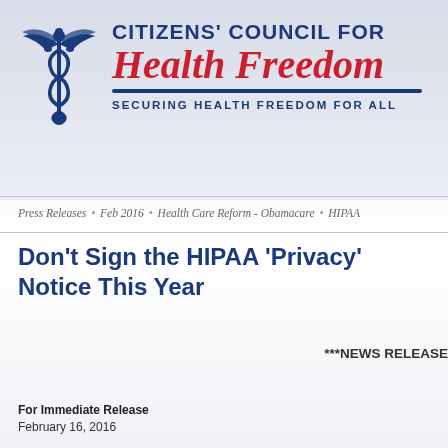[Figure (logo): Citizens' Council for Health Freedom logo with caduceus symbol, organization name in blue and red italic, tagline 'Securing Health Freedom For All']
Press Releases • Feb 2016 • Health Care Reform - Obamacare • HIPAA
Don't Sign the HIPAA 'Privacy' Notice This Year
***NEWS RELEASE
For Immediate Release
February 16, 2016